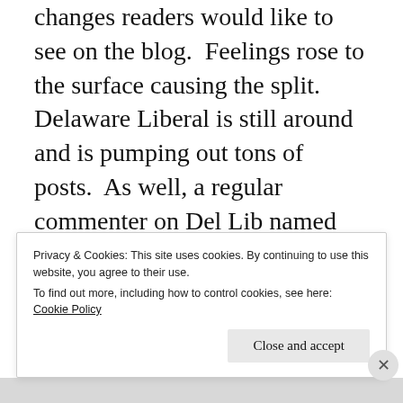changes readers would like to see on the blog.  Feelings rose to the surface causing the split.  Delaware Liberal is still around and is pumping out tons of posts.  As well, a regular commenter on Del Lib named Donviti began his own blog called Worn Off Novelty.  Stan Merriman is also writing more stuff on his own blog, Pitchforks & Populists.
Privacy & Cookies: This site uses cookies. By continuing to use this website, you agree to their use.
To find out more, including how to control cookies, see here: Cookie Policy